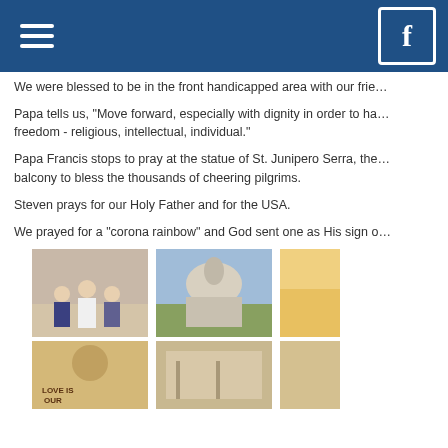Navigation header with hamburger menu and Facebook icon
We were blessed to be in the front handicapped area with our frie...
Papa tells us, "Move forward, especially with dignity in order to ha... freedom - religious, intellectual, individual."
Papa Francis stops to pray at the statue of St. Junipero Serra, the... balcony to bless the thousands of cheering pilgrims.
Steven prays for our Holy Father and for the USA.
We prayed for a "corona rainbow" and God sent one as His sign o...
[Figure (photo): Two women posing with Pope Francis cutout or figure in front of a wall with text]
[Figure (photo): Exterior view of a large domed basilica or cathedral building]
[Figure (photo): Partially visible photo with yellow background]
[Figure (photo): Poster or book cover reading LOVE IS OUR with Pope Francis imagery]
[Figure (photo): Interior hallway or corridor photo]
[Figure (photo): Partially visible photo at bottom right]